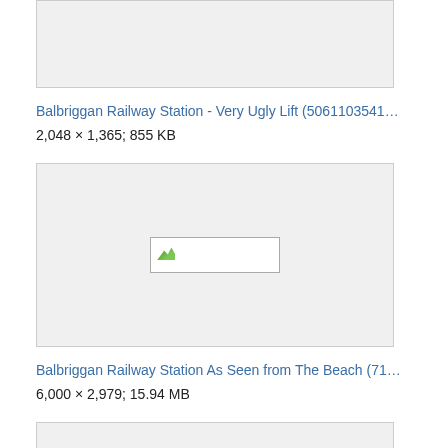[Figure (photo): Thumbnail image box (top, partially visible) for Balbriggan Railway Station Very Ugly Lift photo]
Balbriggan Railway Station - Very Ugly Lift (5061103541…
2,048 × 1,365; 855 KB
[Figure (photo): Thumbnail image box for Balbriggan Railway Station As Seen from The Beach photo, showing broken image icon]
Balbriggan Railway Station As Seen from The Beach (71…
6,000 × 2,979; 15.94 MB
[Figure (photo): Thumbnail image box (bottom, partially visible) showing broken image icon]